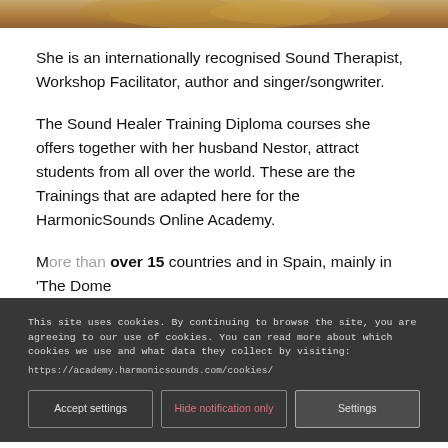[Figure (photo): Top portion of a photo showing a woman with curly/wavy hair, partially cropped at the top of the page]
She is an internationally recognised Sound Therapist, Workshop Facilitator, author and singer/songwriter.
The Sound Healer Training Diploma courses she offers together with her husband Nestor, attract students from all over the world. These are the Trainings that are adapted here for the HarmonicSounds Online Academy.
This site uses cookies. By continuing to browse the site, you are agreeing to our use of cookies. You can read more about which cookies we use and what data they collect by visiting:
https://academy.harmonicsounds.com/cookies/
Accept settings
Hide notification only
Settings
M over 15 countries and in Spain, mainly in 'The Dome